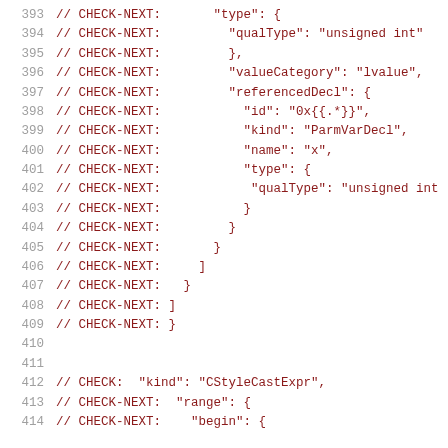393  // CHECK-NEXT:       "type": {
394  // CHECK-NEXT:         "qualType": "unsigned int"
395  // CHECK-NEXT:         },
396  // CHECK-NEXT:         "valueCategory": "lvalue",
397  // CHECK-NEXT:         "referencedDecl": {
398  // CHECK-NEXT:           "id": "0x{{.*}}",
399  // CHECK-NEXT:           "kind": "ParmVarDecl",
400  // CHECK-NEXT:           "name": "x",
401  // CHECK-NEXT:           "type": {
402  // CHECK-NEXT:            "qualType": "unsigned int
403  // CHECK-NEXT:           }
404  // CHECK-NEXT:         }
405  // CHECK-NEXT:       }
406  // CHECK-NEXT:     ]
407  // CHECK-NEXT:   }
408  // CHECK-NEXT: ]
409  // CHECK-NEXT: }
410
411
412  // CHECK:  "kind": "CStyleCastExpr",
413  // CHECK-NEXT:  "range": {
414  // CHECK-NEXT:    "begin": {